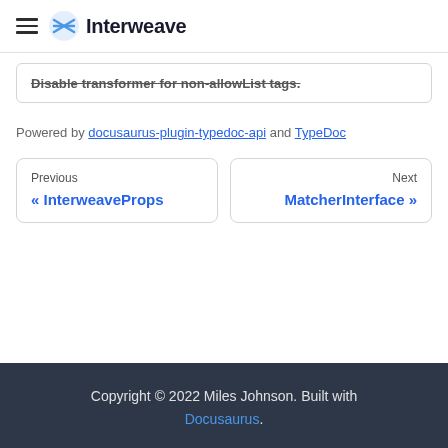Interweave
Disable transformer for non-allowList tags.
Powered by docusaurus-plugin-typedoc-api and TypeDoc
Previous « InterweaveProps
Next MatcherInterface »
Copyright © 2022 Miles Johnson. Built with Docusaurus.